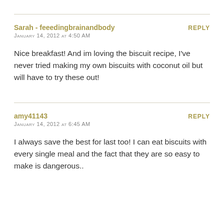Sarah - feeedingbrainandbody
January 14, 2012 at 4:50 AM
REPLY
Nice breakfast! And im loving the biscuit recipe, I've never tried making my own biscuits with coconut oil but will have to try these out!
amy41143
January 14, 2012 at 6:45 AM
REPLY
I always save the best for last too! I can eat biscuits with every single meal and the fact that they are so easy to make is dangerous..